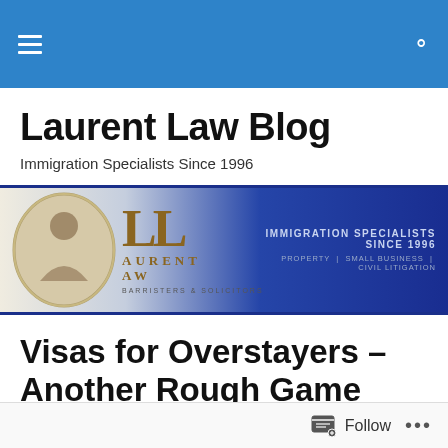Laurent Law Blog
Immigration Specialists Since 1996
[Figure (logo): Laurent Law firm banner logo showing oval portrait, stylized LL monogram in gold, LAURENT LAW text, BARRISTERS & SOLICITORS subtitle, IMMIGRATION SPECIALISTS SINCE 1996, PROPERTY | SMALL BUSINESS | CIVIL LITIGATION on blue gradient background]
Visas for Overstayers – Another Rough Game
Posted by Simon Laurent, Lawyer
Follow